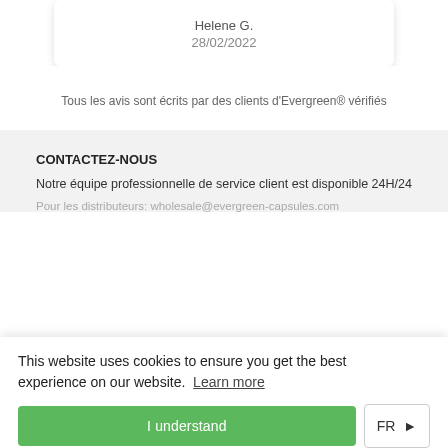Helene G.
28/02/2022
Tous les avis sont écrits par des clients d'Evergreen® vérifiés
CONTACTEZ-NOUS
Notre équipe professionnelle de service client est disponible 24H/24
Pour les distributeurs: wholesale@evergreen-capsules.com
This website uses cookies to ensure you get the best experience on our website. Learn more
I understand